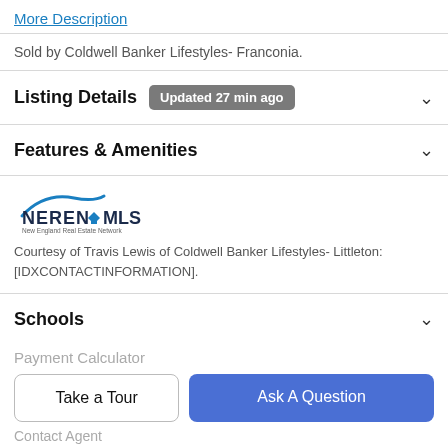More Description
Sold by Coldwell Banker Lifestyles- Franconia.
Listing Details  Updated 27 min ago
Features & Amenities
[Figure (logo): NEREN MLS - New England Real Estate Network logo]
Courtesy of Travis Lewis of Coldwell Banker Lifestyles- Littleton: [IDXCONTACTINFORMATION].
Schools
Payment Calculator
Take a Tour
Ask A Question
Contact Agent